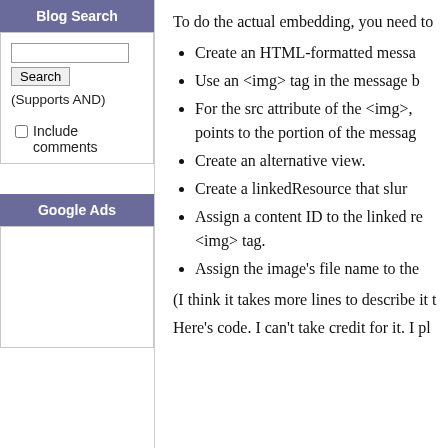Blog Search
Search (Supports AND)
Include comments
Google Ads
To do the actual embedding, you need to
Create an HTML-formatted messa
Use an <img> tag in the message b
For the src attribute of the <img>, points to the portion of the messag
Create an alternative view.
Create a linkedResource that slur
Assign a content ID to the linked re <img> tag.
Assign the image's file name to the
(I think it takes more lines to describe it t
Here's code. I can't take credit for it. I pl